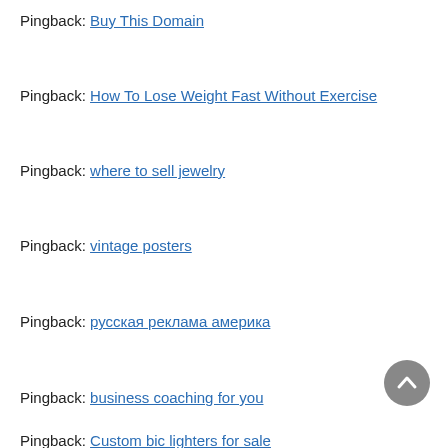Pingback: Buy This Domain
Pingback: How To Lose Weight Fast Without Exercise
Pingback: where to sell jewelry
Pingback: vintage posters
Pingback: русская реклама америка
Pingback: business coaching for you
Pingback: Custom bic lighters for sale